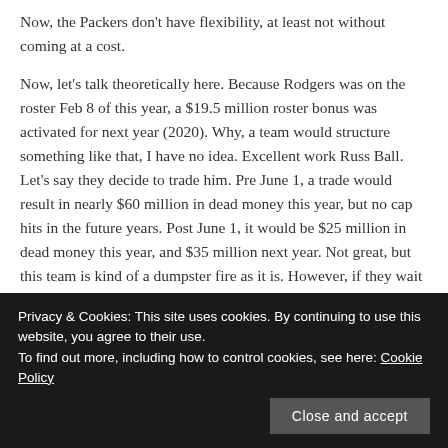Now, the Packers don't have flexibility, at least not without coming at a cost.
Now, let's talk theoretically here. Because Rodgers was on the roster Feb 8 of this year, a $19.5 million roster bonus was activated for next year (2020). Why, a team would structure something like that, I have no idea. Excellent work Russ Ball. Let's say they decide to trade him. Pre June 1, a trade would result in nearly $60 million in dead money this year, but no cap hits in the future years. Post June 1, it would be $25 million in dead money this year, and $35 million next year. Not great, but this team is kind of a dumpster fire as it is. However, if they wait till next year, post June 1, it is $11.5 million in dead
Privacy & Cookies: This site uses cookies. By continuing to use this website, you agree to their use.
To find out more, including how to control cookies, see here: Cookie Policy
Close and accept